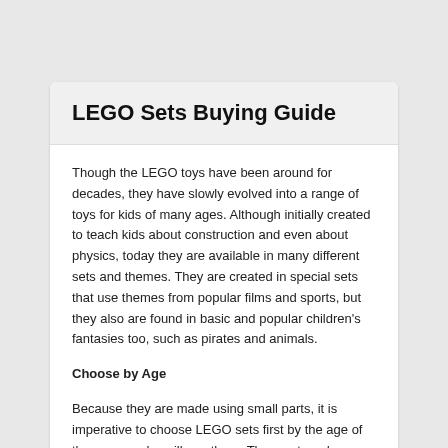LEGO Sets Buying Guide
Though the LEGO toys have been around for decades, they have slowly evolved into a range of toys for kids of many ages. Although initially created to teach kids about construction and even about physics, today they are available in many different sets and themes. They are created in special sets that use themes from popular films and sports, but they also are found in basic and popular children's fantasies too, such as pirates and animals.
Choose by Age
Because they are made using small parts, it is imperative to choose LEGO sets first by the age of the person who will use them. The most modern "breakdown" of the ages by which you can choose LEGO toys is:
Babies and Toddlers